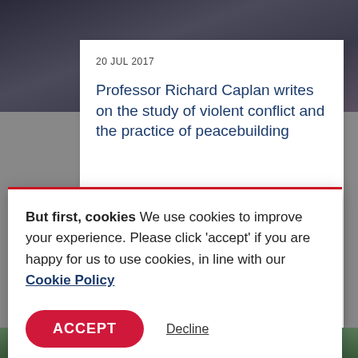[Figure (photo): Dark background photo of a person at top of page]
20 JUL 2017
Professor Richard Caplan writes on the study of violent conflict and the practice of peacebuilding
But first, cookies We use cookies to improve your experience. Please click 'accept' if you are happy for us to use cookies, in line with our Cookie Policy
ACCEPT
Decline
[Figure (photo): Dark green photo strip at the bottom of the page]